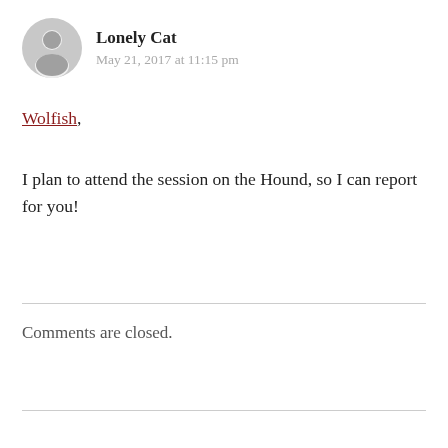[Figure (illustration): Gray circular avatar icon with silhouette of a person]
Lonely Cat
May 21, 2017 at 11:15 pm
Wolfish,
I plan to attend the session on the Hound, so I can report for you!
Comments are closed.